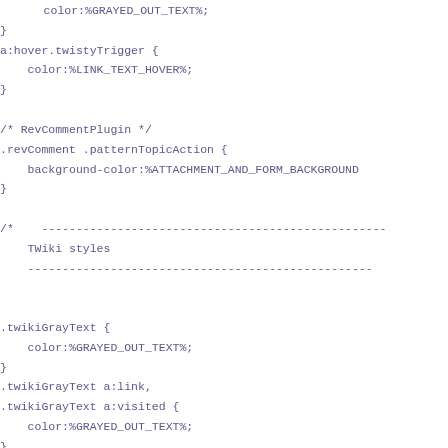color:%GRAYED_OUT_TEXT%;
}
a:hover.twistyTrigger {
    color:%LINK_TEXT_HOVER%;
}

/* RevCommentPlugin */
.revComment .patternTopicAction {
    background-color:%ATTACHMENT_AND_FORM_BACKGROUND
}

/*    --------------------------------------------------
    TWiki styles
    --------------------------------------------------


.twikiGrayText {
    color:%GRAYED_OUT_TEXT%;
}
.twikiGrayText a:link,
.twikiGrayText a:visited {
    color:%GRAYED_OUT_TEXT%;
}
.twikiGrayText a:hover {
    color:%LINK_TEXT_HOVER%;